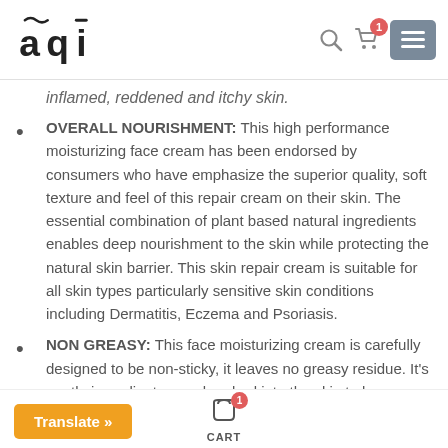aqi [logo] — navigation bar with search icon, cart badge (1), and menu button
inflamed, reddened and itchy skin.
OVERALL NOURISHMENT: This high performance moisturizing face cream has been endorsed by consumers who have emphasize the superior quality, soft texture and feel of this repair cream on their skin. The essential combination of plant based natural ingredients enables deep nourishment to the skin while protecting the natural skin barrier. This skin repair cream is suitable for all skin types particularly sensitive skin conditions including Dermatitis, Eczema and Psoriasis.
NON GREASY: This face moisturizing cream is carefully designed to be non-sticky, it leaves no greasy residue. It's gentle ingredients are absorbed into the skin to leave a
Translate » | CART (1)